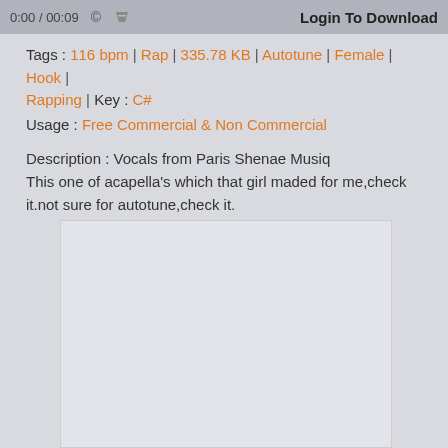0:00 / 00:09  [copyright icon] [thumb icon]  Login To Download
Tags : 116 bpm | Rap | 335.78 KB | Autotune | Female | Hook | Rapping | Key : C#
Usage : Free Commercial & Non Commercial
Description : Vocals from Paris Shenae Musiq
This one of acapella's which that girl maded for me,check it.not sure for autotune,check it.
[Figure (other): Empty advertisement or embedded content box (light gray rectangle)]